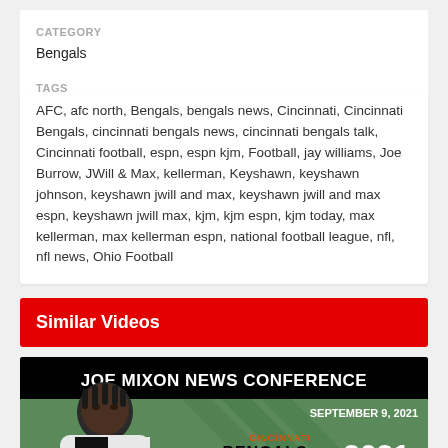CATEGORY
Bengals
TAGS
AFC, afc north, Bengals, bengals news, Cincinnati, Cincinnati Bengals, cincinnati bengals news, cincinnati bengals talk, Cincinnati football, espn, espn kjm, Football, jay williams, Joe Burrow, JWill & Max, kellerman, Keyshawn, keyshawn johnson, keyshawn jwill and max, keyshawn jwill and max espn, keyshawn jwill max, kjm, kjm espn, kjm today, max kellerman, max kellerman espn, national football league, nfl, nfl news, Ohio Football
Similar Videos
[Figure (photo): Thumbnail image for Joe Mixon News Conference, September 9, 2021, Cincinnati Bengals 2021 Regular Season]